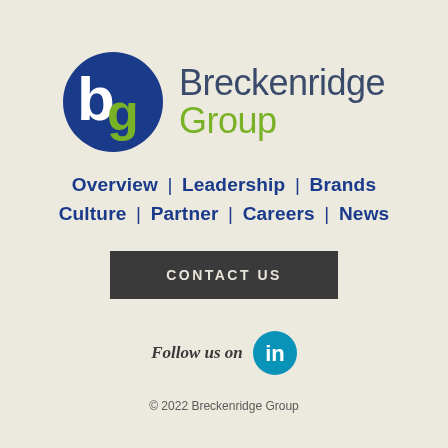[Figure (logo): Breckenridge Group logo: blue circle with white 'b' and green 'g' letters, followed by 'Breckenridge' in dark blue and 'Group' in green]
Overview | Leadership | Brands
Culture | Partner | Careers | News
CONTACT US
Follow us on [LinkedIn icon]
© 2022 Breckenridge Group